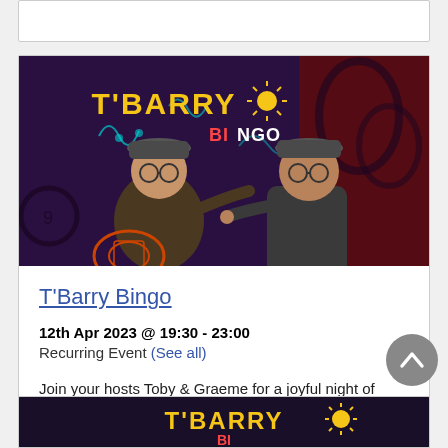[Figure (photo): T'Barry Bingo promotional photo showing two men in flat caps and glasses on a colorful bingo-themed stage with the T'Barry Bingo logo overhead]
T'Barry Bingo
12th Apr 2023 @ 19:30 - 23:00
Recurring Event (See all)
Join your hosts Toby & Graeme for a joyful night of bingo, w'real prizes including over £100 in…
[Figure (photo): Partial view of another T'Barry Bingo promotional image at bottom of page]